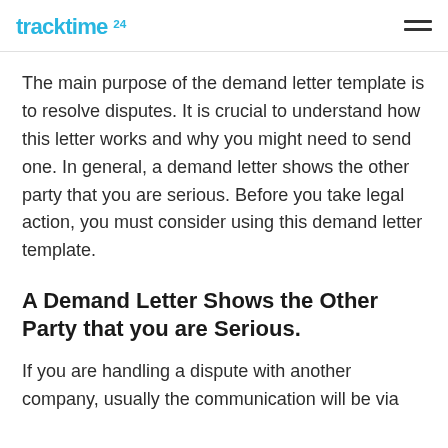tracktime24
The main purpose of the demand letter template is to resolve disputes. It is crucial to understand how this letter works and why you might need to send one. In general, a demand letter shows the other party that you are serious. Before you take legal action, you must consider using this demand letter template.
A Demand Letter Shows the Other Party that you are Serious.
If you are handling a dispute with another company, usually the communication will be via